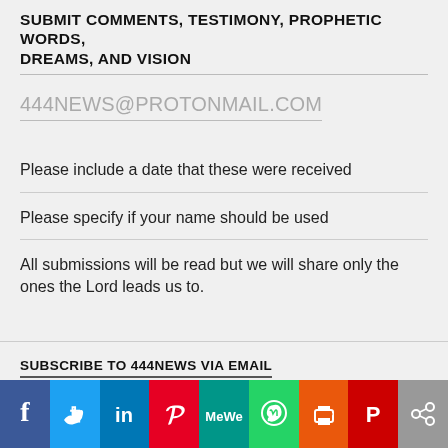SUBMIT COMMENTS, TESTIMONY, PROPHETIC WORDS, DREAMS, AND VISION
444NEWS@PROTONMAIL.COM
Please include a date that these were received
Please specify if your name should be used
All submissions will be read but we will share only the ones the Lord leads us to.
SUBSCRIBE TO 444NEWS VIA EMAIL
[Figure (infographic): Social media sharing buttons row: Facebook (blue), Twitter (light blue), LinkedIn (dark blue), Pinterest (red), MeWe (teal), WhatsApp (green), Print (orange), Parler (dark red), Share (gray)]